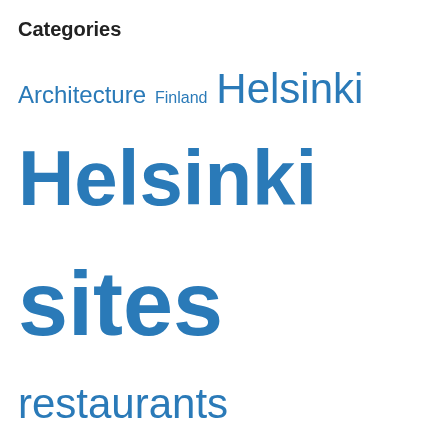Categories
Architecture  Finland  Helsinki  Helsinki  sites  restaurants  Seasons  shopping  Uncategorized
Follow Blog via Email
Privacy & Cookies: This site uses cookies. By continuing to use this website, you agree to their use.
To find out more, including how to control cookies, see here: Cookie Policy
Close and accept